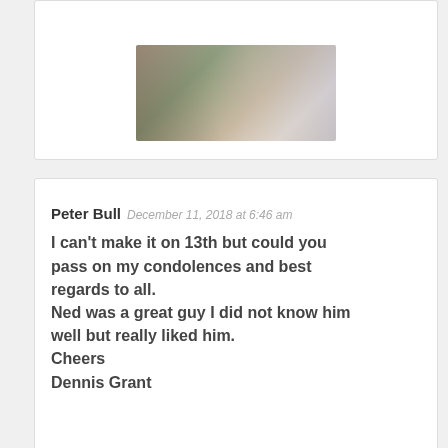[Figure (photo): A photograph showing people at what appears to be an outdoor gathering or event, partially cropped at the top of the page.]
Peter Bull December 11, 2018 at 6:46 am
I can't make it on 13th but could you pass on my condolences and best regards to all.
Ned was a great guy I did not know him well but really liked him.
Cheers
Dennis Grant
Peter Bull January 7, 2019 at 1:03 pm
I heard the tragic news about Coco. I had seen him a few weeks earlier with Carmen. He was in fine form. So sad to leave us way too early, but one never